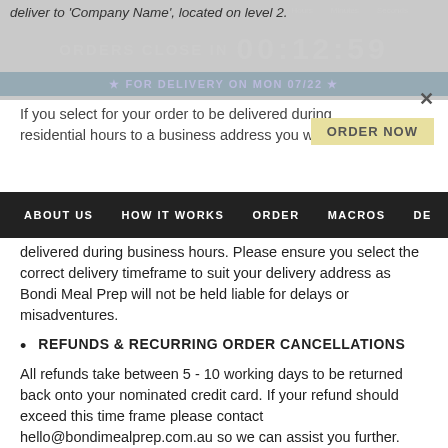deliver to 'Company Name', located on level 2.
If you select for your order to be delivered during residential hours to a business address you will risk your delivered during business hours. Please ensure you select the correct delivery timeframe to suit your delivery address as Bondi Meal Prep will not be held liable for delays or misadventures.
REFUNDS & RECURRING ORDER CANCELLATIONS
All refunds take between 5 - 10 working days to be returned back onto your nominated credit card. If your refund should exceed this time frame please contact hello@bondimealprep.com.au so we can assist you further.
Canceling/deleting your recurring order via your online account only cancels your next scheduled order and does